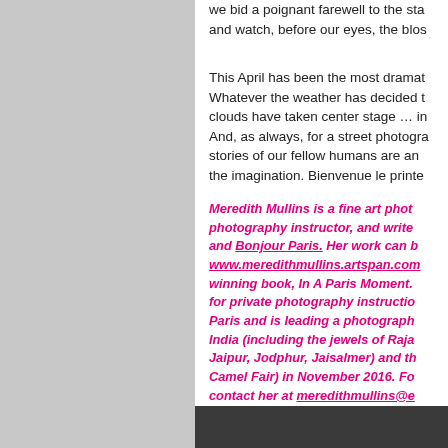we bid a poignant farewell to the sta and watch, before our eyes, the blos
This April has been the most dramat Whatever the weather has decided t clouds have taken center stage … in And, as always, for a street photogra stories of our fellow humans are an the imagination. Bienvenue le printe
Meredith Mullins is a fine art phot photography instructor, and write and Bonjour Paris. Her work can b www.meredithmullins.artspan.com winning book, In A Paris Moment. for private photography instructio Paris and is leading a photograph India (including the jewels of Raja Jaipur, Jodphur, Jaisalmer) and th Camel Fair) in November 2016. Fo contact her at meredithmullins@e
[Figure (photo): Dark grey/charcoal colored rectangular box at the bottom right of the page]